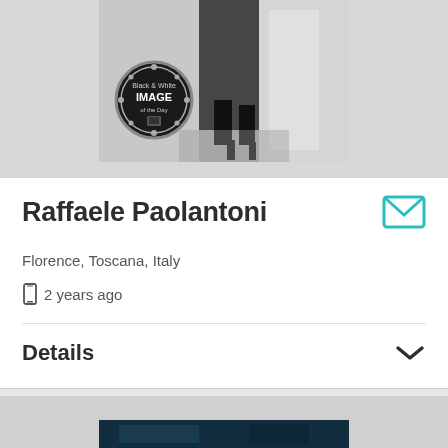[Figure (photo): Black and white photograph showing a person's legs in high heels, with a 'Black & White Image of the Day' badge overlay in the lower left]
Raffaele Paolantoni
Florence, Toscana, Italy
2 years ago
Details
[Figure (photo): Partial view of a dark blue/teal photograph at the bottom of the page]